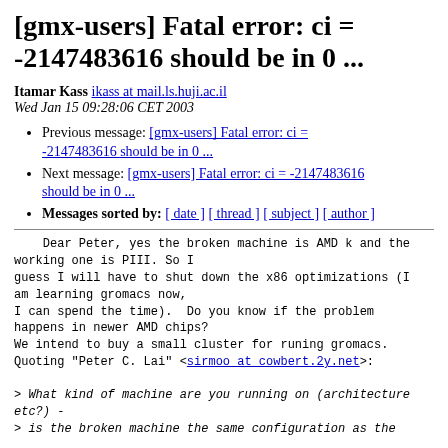[gmx-users] Fatal error: ci = -2147483616 should be in 0 ...
Itamar Kass ikass at mail.ls.huji.ac.il
Wed Jan 15 09:28:06 CET 2003
Previous message: [gmx-users] Fatal error: ci = -2147483616 should be in 0 ...
Next message: [gmx-users] Fatal error: ci = -2147483616 should be in 0 ...
Messages sorted by: [ date ] [ thread ] [ subject ] [ author ]
Dear Peter, yes the broken machine is AMD k and the working one is PIII. So I
guess I will have to shut down the x86 optimizations (I am learning gromacs now,
I can spend the time).  Do you know if the problem happens in newer AMD chips?
We intend to buy a small cluster for runing gromacs.
Quoting "Peter C. Lai" <sirmoo at cowbert.2y.net>:

> What kind of machine are you running on (architecture etc?) -
> is the broken machine the same configuration as the